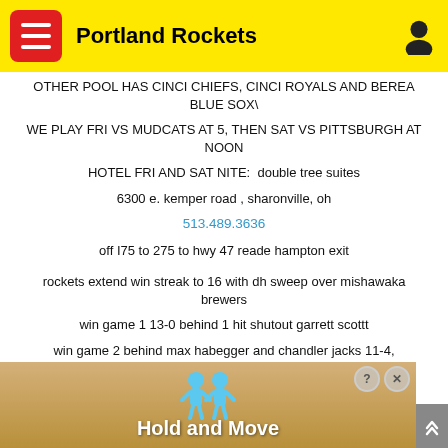Portland Rockets
OTHER POOL HAS CINCI CHIEFS, CINCI ROYALS AND BEREA BLUE SOX\
WE PLAY FRI VS MUDCATS AT 5, THEN SAT VS PITTSBURGH AT NOON
HOTEL FRI AND SAT NITE:  double tree suites
6300 e. kemper road , sharonville, oh
513.489.3636
off I75 to 275 to hwy 47 reade hampton exit
rockets extend win streak to 16 with dh sweep over mishawaka brewers
win game 1 13-0 behind 1 hit shutout garrett scottt
win game 2 behind max habegger and chandler jacks 11-4,
5 hit day for tanner, 4 waters and becker, 2 for krumlauf and
[Figure (screenshot): Hold and Move advertisement overlay with cartoon figures and close/help buttons]